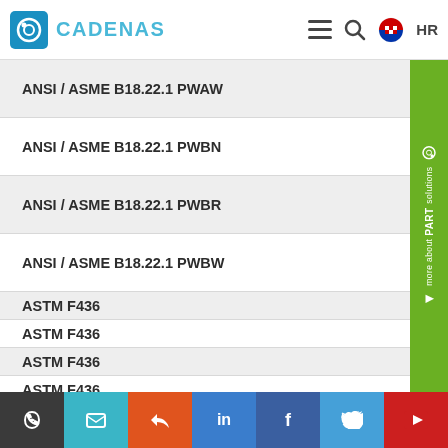CADENAS HR
ANSI / ASME B18.22.1 PWAW
ANSI / ASME B18.22.1 PWBN
ANSI / ASME B18.22.1 PWBR
ANSI / ASME B18.22.1 PWBW
ASTM F436
ASTM F436
ASTM F436
ASTM F436
ASTM F436
ASTM F436
Half Coupling-Cap 3000
phone | email | rss | linkedin | facebook | twitter | youtube